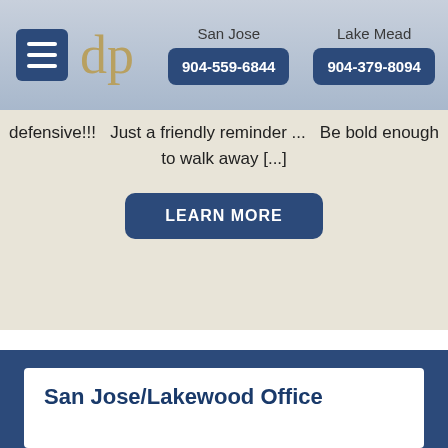dp | San Jose 904-559-6844 | Lake Mead 904-379-8094
defensive!!!   Just a friendly reminder ...   Be bold enough to walk away [...]
LEARN MORE
San Jose/Lakewood Office